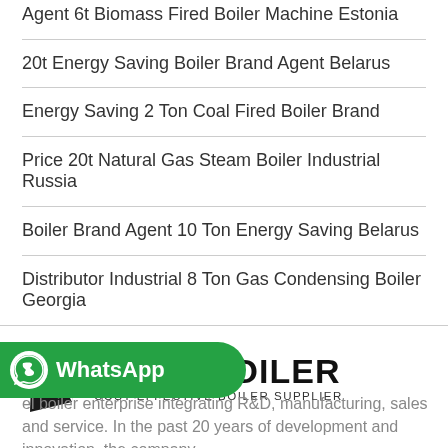Agent 6t Biomass Fired Boiler Machine Estonia
20t Energy Saving Boiler Brand Agent Belarus
Energy Saving 2 Ton Coal Fired Boiler Brand
Price 20t Natural Gas Steam Boiler Industrial Russia
Boiler Brand Agent 10 Ton Energy Saving Belarus
Distributor Industrial 8 Ton Gas Condensing Boiler Georgia
[Figure (logo): TOBO BOILER logo with triangular icon and tagline COST-EFFECTIVE BOILER SUPPLIER]
[Figure (logo): WhatsApp green button with phone icon and WhatsApp text]
el boiler enterprise integrating R&D, manufacturing, sales and service. In the past 20 years of development and innovation, the company